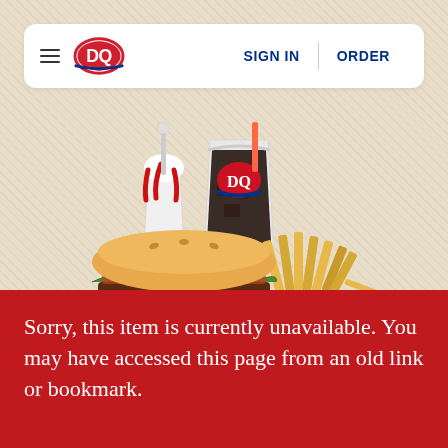[Figure (logo): Dairy Queen (DQ) website navigation bar with hamburger menu, DQ logo, SIGN IN and ORDER links]
[Figure (photo): DQ combo meal with a double cheeseburger, large fountain drink with DQ logo cup, french fries, and a blizzard treat, displayed on a light beige diagonal-stripe background]
Sorry, this item is currently unavailable. You may have accessed this page from an old link or bookmark.